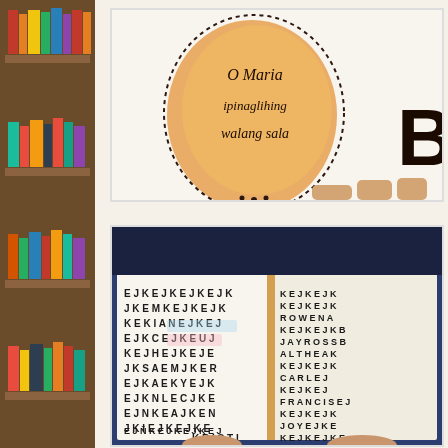[Figure (photo): Bookshelf with colorful books arranged on dark wooden shelves, running the full left side of the page]
[Figure (photo): Handmade artwork/poster showing a decorative frame with text in Filipino reading 'O Maria ipinaglihing walang sala' with orange watercolor background and dotted border, and partially visible letter 'B' on the right]
[Figure (photo): Open handmade book/journal showing a word search puzzle filled with letters including names like KIANA, ROWENA, JAYROSS, ALTHEA, CARLE, FRANCIS, JOY, KRISTI scattered among repeated letter patterns KEJKEJKEJ]